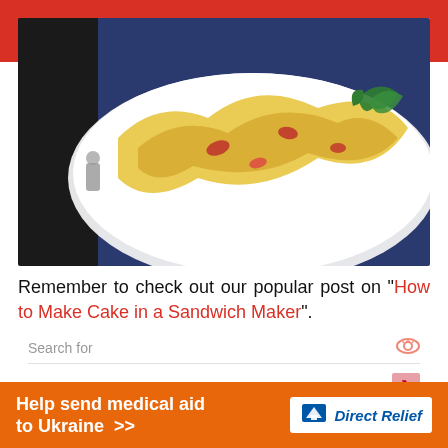[Figure (photo): Food photo of an omelette with vegetables on a white plate against a dark blue background, with a small figurine visible. Red decorative header bar behind/above the photo.]
Remember to check out our popular post on "How to Make Cake in a Sandwich Maker".
Search for
1. Top 5 Sandwich Makers
This website uses cookies to improve your experience. We'll assume you're ok with this, but you can opt-out if
[Figure (infographic): Orange banner ad: Help send medical aid to Ukraine >> with Direct Relief logo on white background]